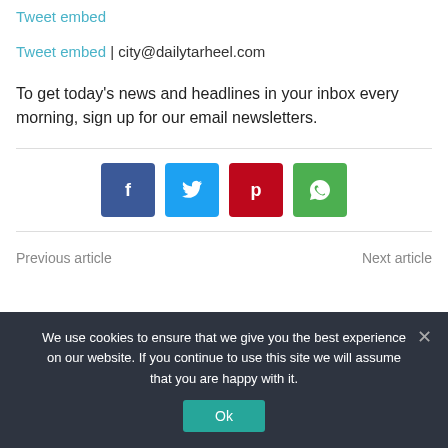Tweet embed
Tweet embed | city@dailytarheel.com
To get today's news and headlines in your inbox every morning, sign up for our email newsletters.
[Figure (infographic): Row of four social media share buttons: Facebook (dark blue), Twitter (light blue), Pinterest (red), WhatsApp (green)]
Previous article    Next article
We use cookies to ensure that we give you the best experience on our website. If you continue to use this site we will assume that you are happy with it.
Ok